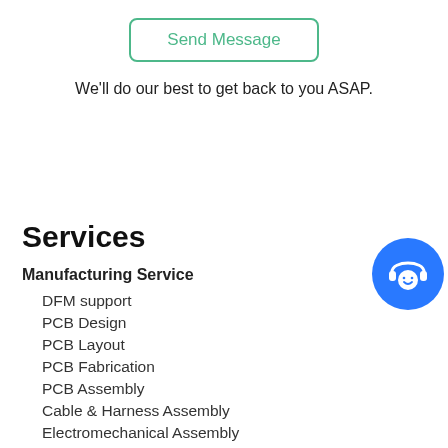Send Message
We'll do our best to get back to you ASAP.
Services
Manufacturing Service
DFM support
PCB Design
PCB Layout
PCB Fabrication
PCB Assembly
Cable & Harness Assembly
Electromechanical Assembly
Plastic Injection Molding
[Figure (illustration): Blue circular support chat icon with headset and smiley face]